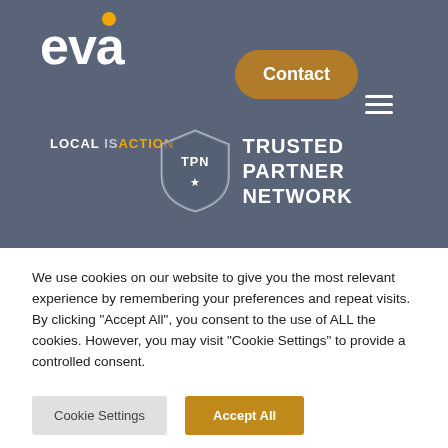[Figure (logo): EVA logo with orange dot above the 'v', white text on dark blue-grey background]
[Figure (logo): Contact button - rounded rectangle in brown/gold color with white text 'Contact']
[Figure (logo): TPN Trusted Partner Network badge/shield logo with text 'TRUSTED PARTNER NETWORK' in white]
LOCAL IS ACTION
We use cookies on our website to give you the most relevant experience by remembering your preferences and repeat visits. By clicking “Accept All”, you consent to the use of ALL the cookies. However, you may visit "Cookie Settings" to provide a controlled consent.
Cookie Settings
Accept All